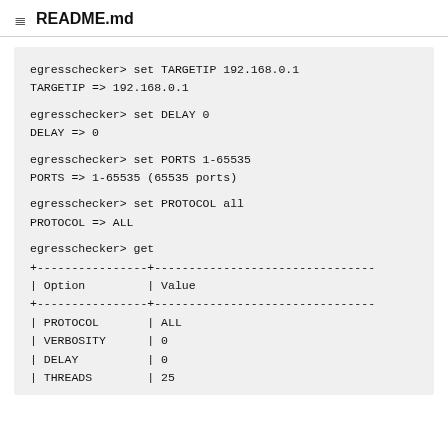README.md
egresschecker> set TARGETIP 192.168.0.1
TARGETIP => 192.168.0.1

egresschecker> set DELAY 0
DELAY => 0

egresschecker> set PORTS 1-65535
PORTS => 1-65535 (65535 ports)

egresschecker> set PROTOCOL all
PROTOCOL => ALL

egresschecker> get
+----------------+--------------------------------
| Option         | Value
+----------------+--------------------------------
| PROTOCOL       | ALL
| VERBOSITY      | 0
| DELAY          | 0
| THREADS        | 25